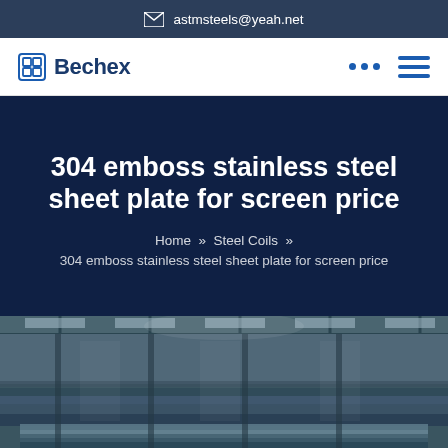astmsteels@yeah.net
[Figure (logo): Bechex company logo with square icon]
304 emboss stainless steel sheet plate for screen price
Home » Steel Coils »
304 emboss stainless steel sheet plate for screen price
[Figure (photo): Warehouse interior showing stainless steel coils/sheets stacked, industrial lighting from above]